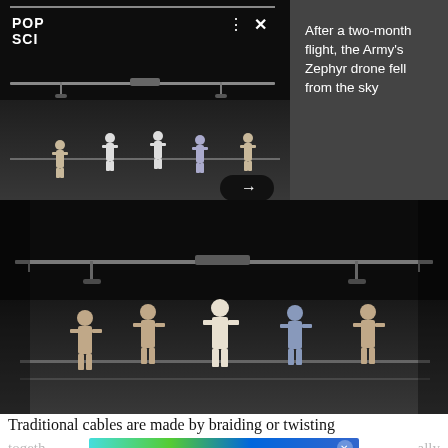[Figure (screenshot): Notification card showing a night-time photo of people running alongside a large drone on a tarmac runway. The card has a POP SCI logo, three-dots and X controls, a right-arrow button, and sidebar text reading 'After a two-month flight, the Army's Zephyr drone fell from the sky'.]
[Figure (photo): Larger night-time photograph of the Airbus Zephyr solar drone with its long thin wings extended, surrounded by people running alongside it on a dark tarmac runway.]
Traditional cables are made by braiding or twisting
togeth
[Figure (screenshot): Amazon Music advertisement banner with gradient background reading 'amazon music PODCASTS NOW STREAMING']
ally
metal